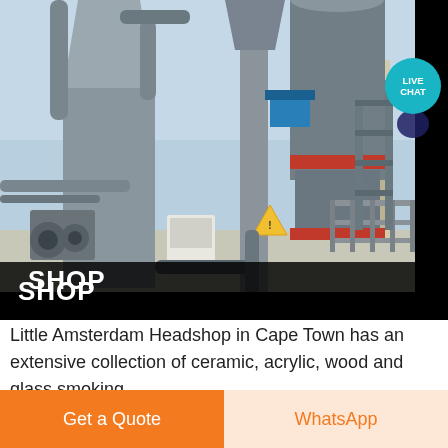[Figure (photo): Industrial machinery/equipment facility photo showing large cylindrical tanks, pipes, conveyor structures and metal framework under a blue sky. A yellow warning sign is visible. A 'LIVE CHAT' badge with teal circle overlays the top-right area.]
SHOP
Little Amsterdam Headshop in Cape Town has an extensive collection of ceramic, acrylic, wood and glass smoking
Get a Quote
WhatsApp